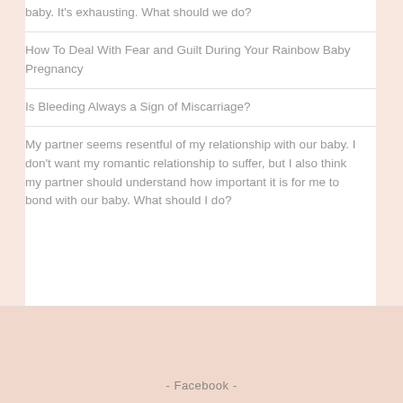baby. It's exhausting. What should we do?
How To Deal With Fear and Guilt During Your Rainbow Baby Pregnancy
Is Bleeding Always a Sign of Miscarriage?
My partner seems resentful of my relationship with our baby. I don't want my romantic relationship to suffer, but I also think my partner should understand how important it is for me to bond with our baby. What should I do?
- Facebook -